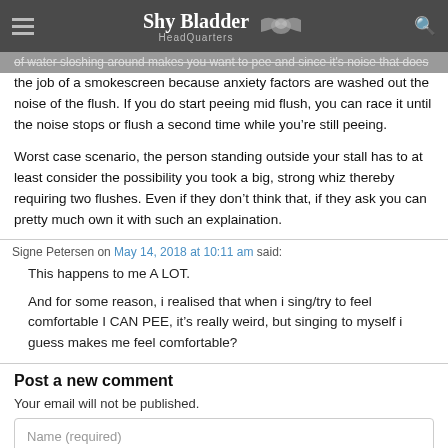Shy Bladder HeadQuarters
of water sloshing around makes you want to pee and since it's noise that does the job of a smokescreen because anxiety factors are washed out the noise of the flush. If you do start peeing mid flush, you can race it until the noise stops or flush a second time while you're still peeing.
Worst case scenario, the person standing outside your stall has to at least consider the possibility you took a big, strong whiz thereby requiring two flushes. Even if they don't think that, if they ask you can pretty much own it with such an explaination.
Signe Petersen on May 14, 2018 at 10:11 am said:
This happens to me A LOT.
And for some reason, i realised that when i sing/try to feel comfortable I CAN PEE, it's really weird, but singing to myself i guess makes me feel comfortable?
Post a new comment
Your email will not be published.
Name (required)
Email (required)